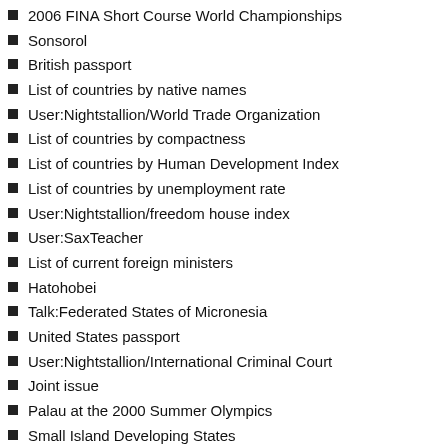2006 FINA Short Course World Championships
Sonsorol
British passport
List of countries by native names
User:Nightstallion/World Trade Organization
List of countries by compactness
List of countries by Human Development Index
List of countries by unemployment rate
User:Nightstallion/freedom house index
User:SaxTeacher
List of current foreign ministers
Hatohobei
Talk:Federated States of Micronesia
United States passport
User:Nightstallion/International Criminal Court
Joint issue
Palau at the 2000 Summer Olympics
Small Island Developing States
Athletics at the 2000 Summer Olympics - Men's 100 metres
User:Elmo12456/Sandbox page/Flags of the world list
Template talk:Infobox Country/Archive 2
Timeline of the introduction of television in countries